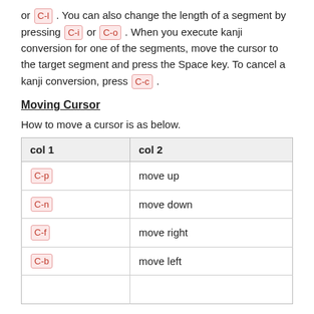or C-l . You can also change the length of a segment by pressing C-i or C-o . When you execute kanji conversion for one of the segments, move the cursor to the target segment and press the Space key. To cancel a kanji conversion, press C-c .
Moving Cursor
How to move a cursor is as below.
| col 1 | col 2 |
| --- | --- |
| C-p | move up |
| C-n | move down |
| C-f | move right |
| C-b | move left |
|  |  |